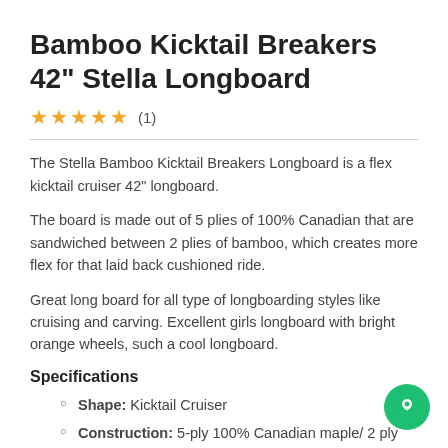Bamboo Kicktail Breakers 42" Stella Longboard
★★★★★ (1)
The Stella Bamboo Kicktail Breakers Longboard is a flex kicktail cruiser 42" longboard.
The board is made out of 5 plies of 100% Canadian that are sandwiched between 2 plies of bamboo, which creates more flex for that laid back cushioned ride.
Great long board for all type of longboarding styles like cruising and carving. Excellent girls longboard with bright orange wheels, such a cool longboard.
Specifications
Shape: Kicktail Cruiser
Construction: 5-ply 100% Canadian maple/ 2 ply bamboo